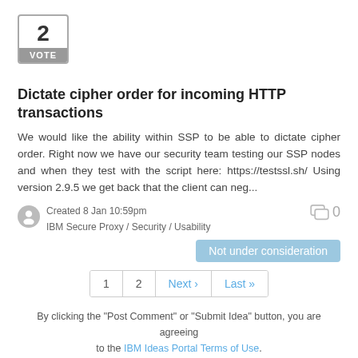[Figure (other): Vote widget showing number 2 with VOTE label in grey box]
Dictate cipher order for incoming HTTP transactions
We would like the ability within SSP to be able to dictate cipher order. Right now we have our security team testing our SSP nodes and when they test with the script here: https://testssl.sh/ Using version 2.9.5 we get back that the client can neg...
Created 8 Jan 10:59pm
IBM Secure Proxy / Security / Usability
Not under consideration
1  2  Next ›  Last »
By clicking the "Post Comment" or "Submit Idea" button, you are agreeing to the IBM Ideas Portal Terms of Use. Do not place IBM confidential, company confidential, or personal information into any field.